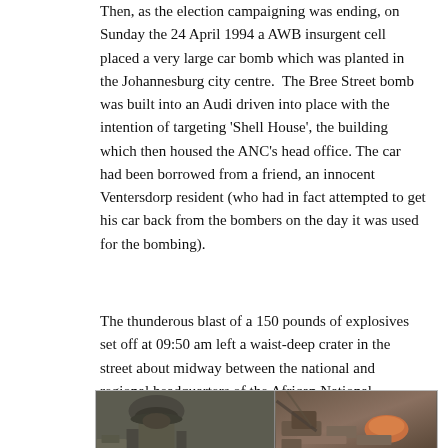Then, as the election campaigning was ending, on Sunday the 24 April 1994 a AWB insurgent cell placed a very large car bomb which was planted in the Johannesburg city centre. The Bree Street bomb was built into an Audi driven into place with the intention of targeting 'Shell House', the building which then housed the ANC's head office. The car had been borrowed from a friend, an innocent Ventersdorp resident (who had in fact attempted to get his car back from the bombers on the day it was used for the bombing).
The thunderous blast of a 150 pounds of explosives set off at 09:50 am left a waist-deep crater in the street about midway between the national and regional headquarters of the African National Congress, shattered glass and building structures for blocks and lacerated scores of passers-by on the quiet Sunday streets and residents in the surrounding high-rise buildings. It was the deadliest blast of its kind in South Africa since 1983.
[Figure (photo): Photograph showing a soldier in a helmet in the foreground among debris, with rubble and damage visible in the background, apparently at the scene of the bombing.]